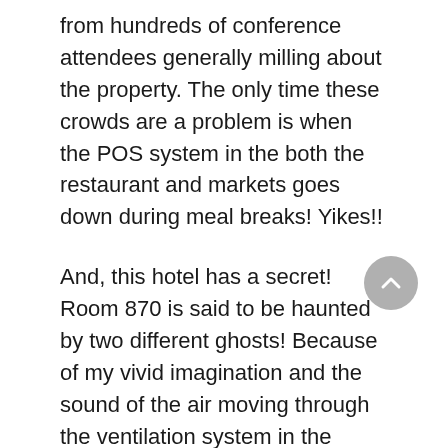from hundreds of conference attendees generally milling about the property. The only time these crowds are a problem is when the POS system in the both the restaurant and markets goes down during meal breaks! Yikes!!
And, this hotel has a secret! Room 870 is said to be haunted by two different ghosts! Because of my vivid imagination and the sound of the air moving through the ventilation system in the quiet, early morning hours, my walk down the corridor to the Ghost Suite was particularly spooky!!!